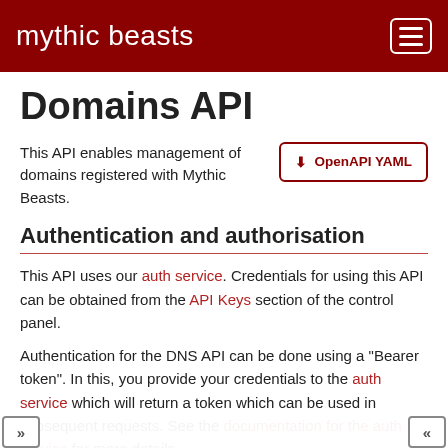mythic beasts
Domains API
This API enables management of domains registered with Mythic Beasts.
OpenAPI YAML
Authentication and authorisation
This API uses our auth service. Credentials for using this API can be obtained from the API Keys section of the control panel.
Authentication for the DNS API can be done using a "Bearer token". In this, you provide your credentials to the auth service which will return a token which can be used in subsequent requests. See the documentation for the auth service for more details.
API Keys can be limited to accessing individual domains, or all domains on your account. API Keys can be read-only, or given